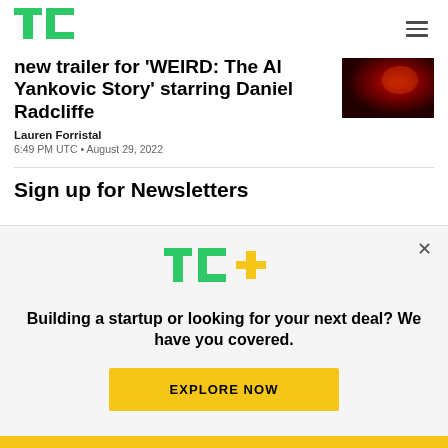TechCrunch
new trailer for 'WEIRD: The Al Yankovic Story' starring Daniel Radcliffe
Lauren Forristal
6:49 PM UTC • August 29, 2022
Sign up for Newsletters
[Figure (logo): TC+ logo with green TechCrunch T and C letters and yellow plus sign]
Building a startup or looking for your next deal? We have you covered.
EXPLORE NOW